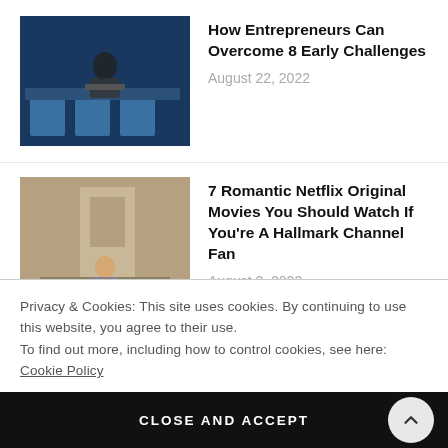[Figure (photo): Person sitting at a table working on a laptop in a blue-toned room with modern chairs]
How Entrepreneurs Can Overcome 8 Early Challenges
August 22, 2022
[Figure (photo): Person sitting on steps outside a building]
7 Romantic Netflix Original Movies You Should Watch If You're A Hallmark Channel Fan
August 2, 2022
[Figure (photo): Garden scene with flowers and a watering can]
The Summer Of Self-Care: 15 Therapeutic Activities To Try
Privacy & Cookies: This site uses cookies. By continuing to use this website, you agree to their use.
To find out more, including how to control cookies, see here: Cookie Policy
CLOSE AND ACCEPT